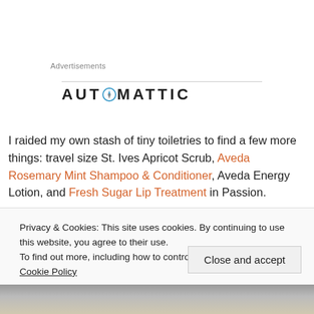Advertisements
[Figure (logo): Automattic logo with compass icon replacing the letter O]
I raided my own stash of tiny toiletries to find a few more things: travel size St. Ives Apricot Scrub, Aveda Rosemary Mint Shampoo & Conditioner, Aveda Energy Lotion, and Fresh Sugar Lip Treatment in Passion.
Privacy & Cookies: This site uses cookies. By continuing to use this website, you agree to their use.
To find out more, including how to control cookies, see here: Cookie Policy
Close and accept
[Figure (photo): Partial photo of beauty/toiletry products at bottom of page]